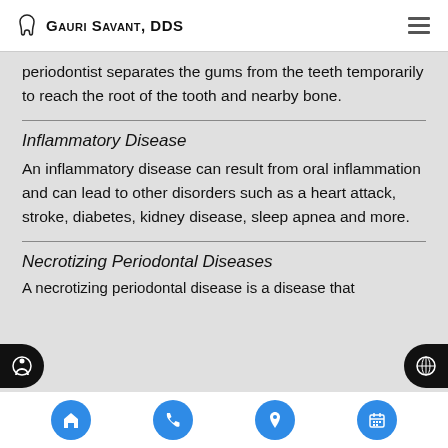Gauri Savant, DDS
periodontist separates the gums from the teeth temporarily to reach the root of the tooth and nearby bone.
Inflammatory Disease
An inflammatory disease can result from oral inflammation and can lead to other disorders such as a heart attack, stroke, diabetes, kidney disease, sleep apnea and more.
Necrotizing Periodontal Diseases
A necrotizing periodontal disease is a disease that